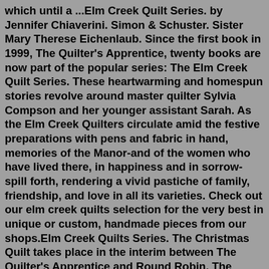which until a ...Elm Creek Quilt Series. by Jennifer Chiaverini. Simon & Schuster. Sister Mary Therese Eichenlaub. Since the first book in 1999, The Quilter's Apprentice, twenty books are now part of the popular series: The Elm Creek Quilt Series. These heartwarming and homespun stories revolve around master quilter Sylvia Compson and her younger assistant Sarah. As the Elm Creek Quilters circulate amid the festive preparations with pens and fabric in hand, memories of the Manor-and of the women who have lived there, in happiness and in sorrow-spill forth, rendering a vivid pastiche of family, friendship, and love in all its varieties. Check out our elm creek quilts selection for the very best in unique or custom, handmade pieces from our shops.Elm Creek Quilts Series. The Christmas Quilt takes place in the interim between The Quilter's Apprentice and Round Robin. The Sugar Camp Quilt is set in 1849-1850, so it takes place before the events chronicled in Gerda's memoir in The Runaway Quilt. The Quilter's Homecoming is set around in 1925, but it branches off from